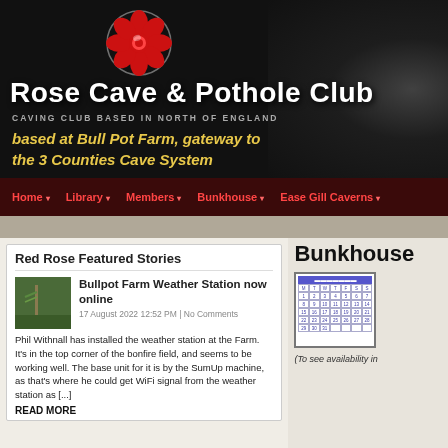[Figure (screenshot): Rose Cave & Pothole Club website header banner with dark cave background, silhouette of person, red rose logo, club name and tagline]
Rose Cave & Pothole Club
CAVING CLUB BASED IN NORTH OF ENGLAND
based at Bull Pot Farm, gateway to the 3 Counties Cave System
Home | Library | Members | Bunkhouse | Ease Gill Caverns
Red Rose Featured Stories
Bullpot Farm Weather Station now online
17 August 2022 12:52 PM | No Comments
Phil Withnall has installed the weather station at the Farm. It's in the top corner of the bonfire field, and seems to be working well. The base unit for it is by the SumUp machine, as that's where he could get WiFi signal from the weather station as [...]
READ MORE
Bunkhouse
[Figure (screenshot): Calendar icon showing a monthly view with purple/blue tones]
(To see availability in